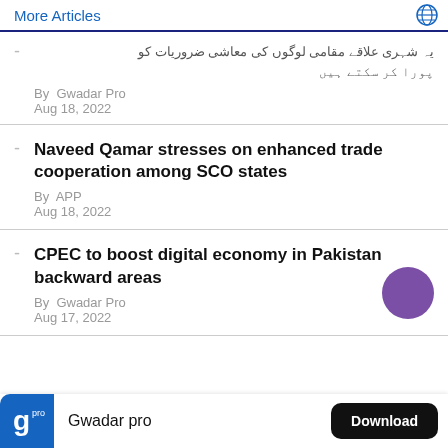More Articles
urdu text (Urdu script - article title in Urdu)
By Gwadar Pro
Aug 18, 2022
Naveed Qamar stresses on enhanced trade cooperation among SCO states
By APP
Aug 18, 2022
CPEC to boost digital economy in Pakistan backward areas
By Gwadar Pro
Aug 17, 2022
Gwadar pro  Download